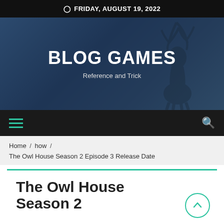FRIDAY, AUGUST 19, 2022
[Figure (illustration): Hero banner with dark blue background showing a silhouette of a deer with antlers, overlaid with BLOG GAMES title and subtitle 'Reference and Trick']
BLOG GAMES
Reference and Trick
Home / how / The Owl House Season 2 Episode 3 Release Date
The Owl House Season 2